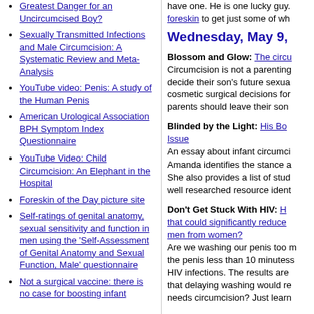Greatest Danger for an Uncircumcised Boy?
Sexually Transmitted Infections and Male Circumcision: A Systematic Review and Meta-Analysis
YouTube video: Penis: A study of the Human Penis
American Urological Association BPH Symptom Index Questionnaire
YouTube Video: Child Circumcision: An Elephant in the Hospital
Foreskin of the Day picture site
Self-ratings of genital anatomy, sexual sensitivity and function in men using the 'Self-Assessment of Genital Anatomy and Sexual Function, Male' questionnaire
Not a surgical vaccine: there is no case for boosting infant
have one. He is one lucky guy. foreskin to get just some of wh
Wednesday, May 9,
Blossom and Glow: The circu Circumcision is not a parenting decide their son's future sexua cosmetic surgical decisions for parents should leave their son
Blinded by the Light: His Bo Issue An essay about infant circumci Amanda identifies the stance a She also provides a list of stud well researched resource ident
Don't Get Stuck With HIV: H that could significantly reduce men from women? Are we washing our penis too m the penis less than 10 minutess HIV infections. The results are that delaying washing would re needs circumcision? Just learn